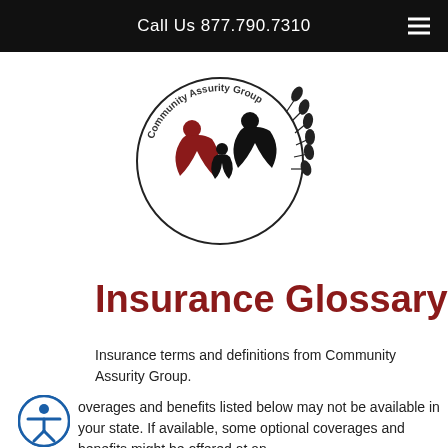Call Us 877.790.7310
[Figure (logo): Community Assurity Group circular logo with stylized figures in red and black, wheat/laurel wreath border, and text 'Community Assurity Group' around the circle]
Insurance Glossary
Insurance terms and definitions from Community Assurity Group.
overages and benefits listed below may not be available in your state. If available, some optional coverages and benefits might be offered at an